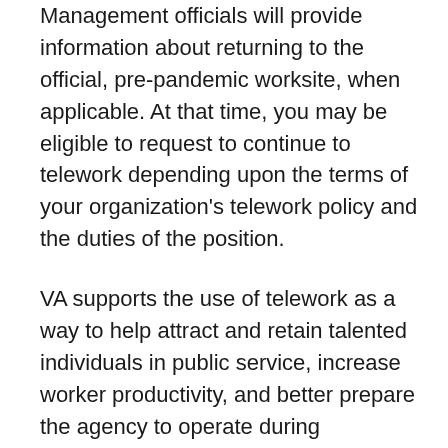Management officials will provide information about returning to the official, pre-pandemic worksite, when applicable. At that time, you may be eligible to request to continue to telework depending upon the terms of your organization's telework policy and the duties of the position.
VA supports the use of telework as a way to help attract and retain talented individuals in public service, increase worker productivity, and better prepare the agency to operate during emergencies. This position may be authorized for telework. Telework eligibility will be discussed during the interview process.
The following will be communicated to applicants for VA employment in a testing designated position and will also be included in all VA vacancy announcements for such positions: All applicants tentatively selected for VA